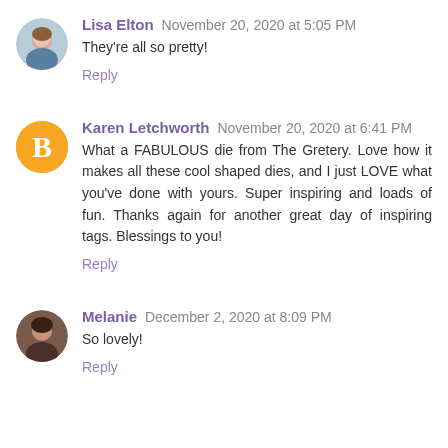Lisa Elton  November 20, 2020 at 5:05 PM
They're all so pretty!
Reply
Karen Letchworth  November 20, 2020 at 6:41 PM
What a FABULOUS die from The Gretery. Love how it makes all these cool shaped dies, and I just LOVE what you've done with yours. Super inspiring and loads of fun. Thanks again for another great day of inspiring tags. Blessings to you!
Reply
Melanie  December 2, 2020 at 8:09 PM
So lovely!
Reply